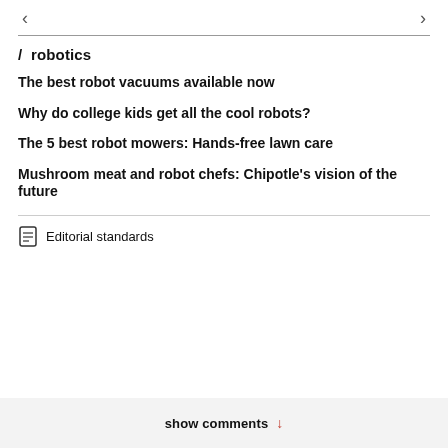< >
/ robotics
The best robot vacuums available now
Why do college kids get all the cool robots?
The 5 best robot mowers: Hands-free lawn care
Mushroom meat and robot chefs: Chipotle's vision of the future
Editorial standards
show comments ↓